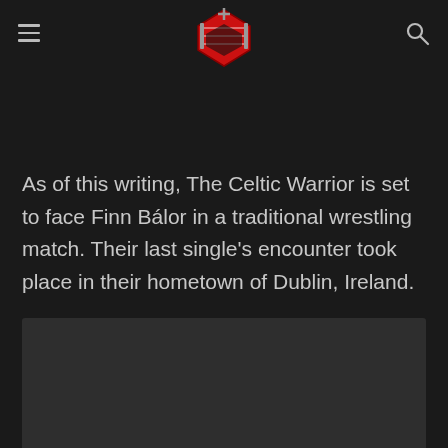[Wrestling website header with logo and navigation icons]
As of this writing, The Celtic Warrior is set to face Finn Bálor in a traditional wrestling match. Their last single's encounter took place in their hometown of Dublin, Ireland.
[Figure (photo): Image placeholder/thumbnail at bottom of page, partially visible, dark gray background]